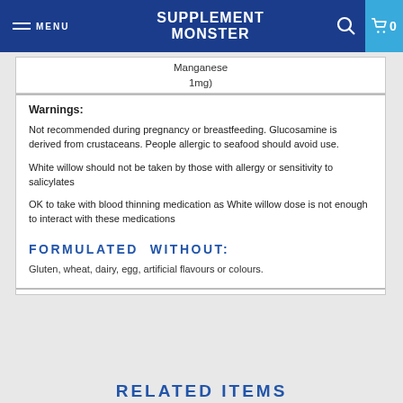SUPPLEMENT MONSTER — MENU | Search | Cart 0
| Manganese |
| 1mg) |
Warnings:
Not recommended during pregnancy or breastfeeding. Glucosamine is derived from crustaceans. People allergic to seafood should avoid use.
White willow should not be taken by those with allergy or sensitivity to salicylates
OK to take with blood thinning medication as White willow dose is not enough to interact with these medications
FORMULATED WITHOUT:
Gluten, wheat, dairy, egg, artificial flavours or colours.
RELATED ITEMS